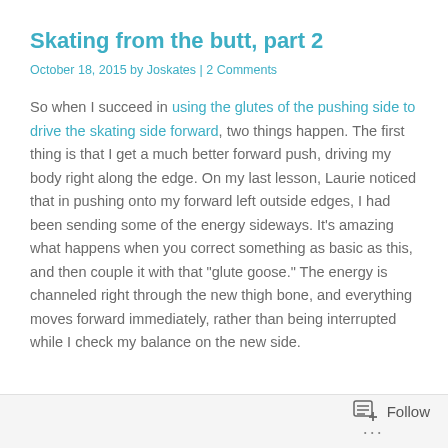Skating from the butt, part 2
October 18, 2015 by Joskates | 2 Comments
So when I succeed in using the glutes of the pushing side to drive the skating side forward, two things happen. The first thing is that I get a much better forward push, driving my body right along the edge. On my last lesson, Laurie noticed that in pushing onto my forward left outside edges, I had been sending some of the energy sideways. It’s amazing what happens when you correct something as basic as this, and then couple it with that “glute goose.” The energy is channeled right through the new thigh bone, and everything moves forward immediately, rather than being interrupted while I check my balance on the new side.
Follow